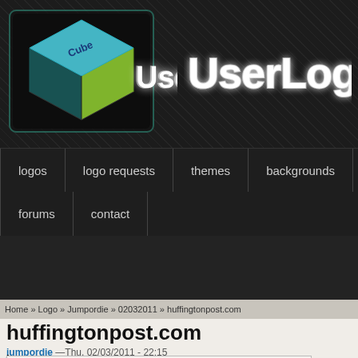[Figure (logo): UserLogos website header with 3D cube icon and 'UserLogos' stylized text on dark patterned background]
logos  logo requests  themes  backgrounds  forums  contact
Home » Logo » Jumpordie » 02032011 » huffingtonpost.com
huffingtonpost.com
jumpordie —Thu, 02/03/2011 - 22:15
Logos:
Search logos
Apply